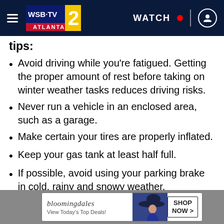WSB-TV Atlanta | WATCH
tips:
Avoid driving while you're fatigued. Getting the proper amount of rest before taking on winter weather tasks reduces driving risks.
Never run a vehicle in an enclosed area, such as a garage.
Make certain your tires are properly inflated.
Keep your gas tank at least half full.
If possible, avoid using your parking brake in cold, rainy and snowy weather.
Do not use cruise control when driving on any slippery surface (wet, ice, sand).
Al...
Us... your
[Figure (screenshot): Bloomingdale's advertisement banner at the bottom of the page showing brand logo, 'View Today's Top Deals!' tagline, a woman in a hat, and a 'SHOP NOW >' button]